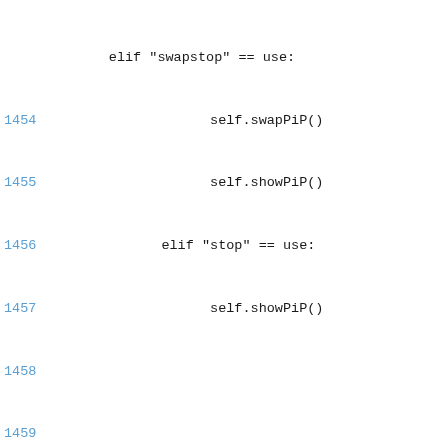elif "swapstop" == use:
1454    self.swapPiP()
1455    self.showPiP()
1456 elif "stop" == use:
1457    self.showPiP()
1458
1459
from RecordTimer import parseEvent, RecordTime
1460
1461 class InfoBarInstantRecord:
1462
     """Instant Record - handles the instan
1463      start/stop instant records"""
1464      def __init__(self):
1465
          self["InstantRecordActions"] =
1466                              {
1467
                                      "instantRecor
1468                              })